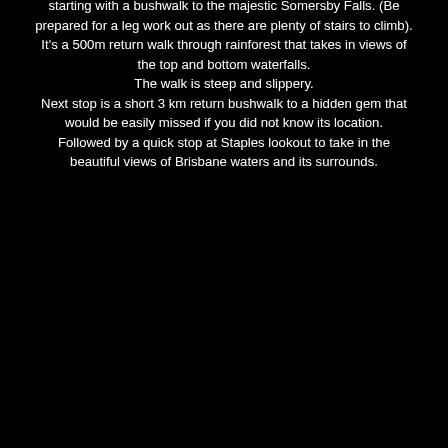starting with a bushwalk to the majestic Somersby Falls. (Be prepared for a leg work out as there are plenty of stairs to climb). It's a 500m return walk through rainforest that takes in views of the top and bottom waterfalls. The walk is steep and slippery. Next stop is a short 3 km return bushwalk to a hidden gem that would be easily missed if you did not know its location. Followed by a quick stop at Staples lookout to take in the beautiful views of Brisbane waters and its surrounds.